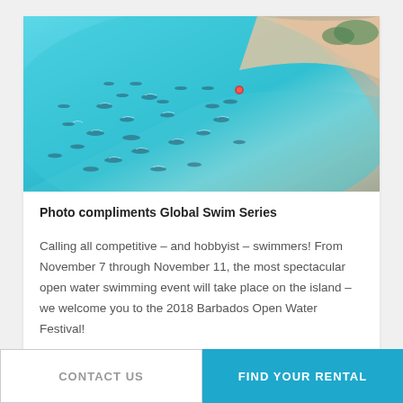[Figure (photo): Aerial view of open water swimmers in turquoise tropical water near a sandy beach shoreline, with many swimmers spread across the frame.]
Photo compliments Global Swim Series
Calling all competitive – and hobbyist – swimmers! From November 7 through November 11, the most spectacular open water swimming event will take place on the island – we welcome you to the 2018 Barbados Open Water Festival!
The five-day festival, which has become a staple on
CONTACT US   FIND YOUR RENTAL